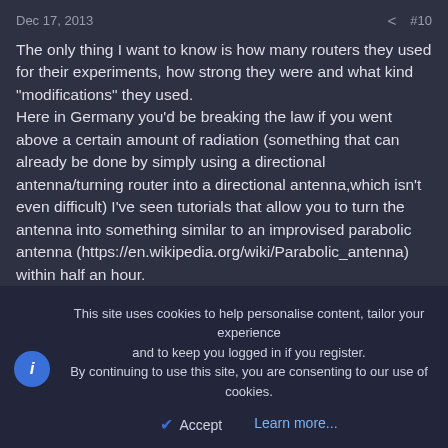Dec 17, 2013  #10
The only thing I want to know is how many routers they used for their experiments, how strong they were and what kind "modifications" they used.
Here in Germany you'd be breaking the law if you went above a certain amount of radiation (something that can already be done by simply using a directional antenna/turning router into a directional antenna,which isn't even difficult) I've seen tutorials that allow you to turn the antenna into something similar to an improvised parabolic antenna (https://en.wikipedia.org/wiki/Parabolic_antenna) within half an hour.
So basically, unless you live in a country with unsafe regulations or don't have regulated (possibly modded) devices, it's shouldn't be too much of a concern.
All this is something we should be aware of, and if we are using a router where we can easily go over safe levels by having some slight
This site uses cookies to help personalise content, tailor your experience and to keep you logged in if you register.
By continuing to use this site, you are consenting to our use of cookies.
Accept   Learn more...